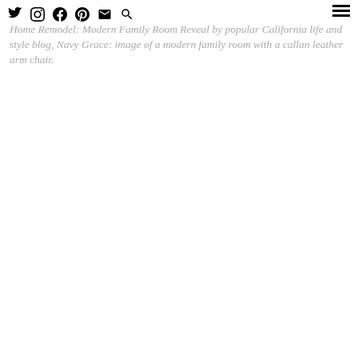Twitter Instagram Facebook Pinterest Email Search [hamburger menu]
Home Remodel: Modern Family Room Reveal by popular California life and style blog, Navy Grace: image of a modern family room with a callan leather arm chair.